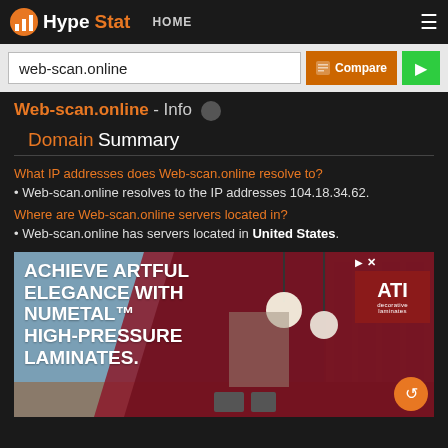HypeStat HOME
web-scan.online
Web-scan.online - Info
Domain Summary
What IP addresses does Web-scan.online resolve to?
Web-scan.online resolves to the IP addresses 104.18.34.62.
Where are Web-scan.online servers located in?
Web-scan.online has servers located in United States.
[Figure (photo): Advertisement banner: ACHIEVE ARTFUL ELEGANCE WITH NUMETAL™ HIGH-PRESSURE LAMINATES. ATI Decorative Laminates brand logo, with a room interior image showing pendant lights and wall panels.]